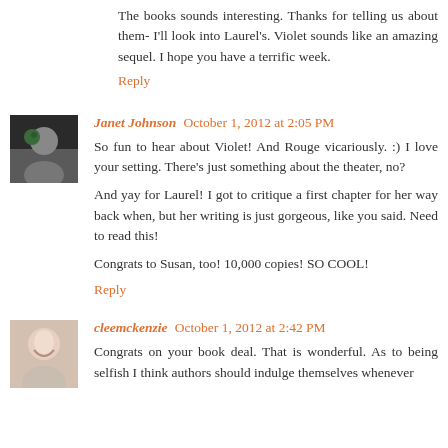The books sounds interesting. Thanks for telling us about them- I'll look into Laurel's. Violet sounds like an amazing sequel. I hope you have a terrific week.
Reply
Janet Johnson  October 1, 2012 at 2:05 PM
So fun to hear about Violet! And Rouge vicariously. :) I love your setting. There's just something about the theater, no?
And yay for Laurel! I got to critique a first chapter for her way back when, but her writing is just gorgeous, like you said. Need to read this!
Congrats to Susan, too! 10,000 copies! SO COOL!
Reply
cleemckenzie  October 1, 2012 at 2:42 PM
Congrats on your book deal. That is wonderful. As to being selfish I think authors should indulge themselves whenever